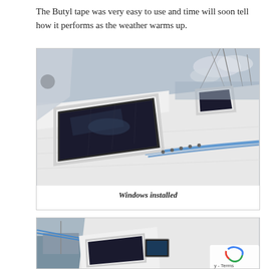The Butyl tape was very easy to use and time will soon tell how it performs as the weather warms up.
[Figure (photo): Photograph of a sailboat deck showing installed windows with white/silver trim frames against the white fiberglass deck. The boat is at a marina with water, rigging, and a blue rope visible.]
Windows installed
[Figure (photo): Partial photograph of a sailboat at a marina, showing the cabin top and windows from a different angle, with dock and other boats visible in the background. A reCAPTCHA widget and 'Terms' text are visible in the lower-right corner.]